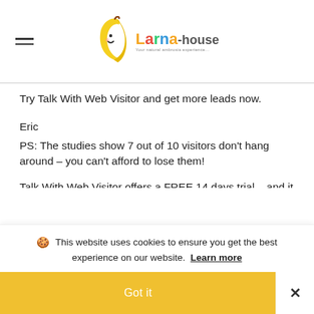Larna house — logo with banana mascot
Try Talk With Web Visitor and get more leads now.
Eric
PS: The studies show 7 out of 10 visitors don't hang around – you can't afford to lose them!
Talk With Web Visitor offers a FREE 14 days trial – and it even includes International Long Distance Calling.
You have customers waiting to talk with you right now… don't keep them waiting.
CLICK HERE https://jumboleadmagnet.com to try Talk With Web Visitor now.
🍪 This website uses cookies to ensure you get the best experience on our website. Learn more
Got it